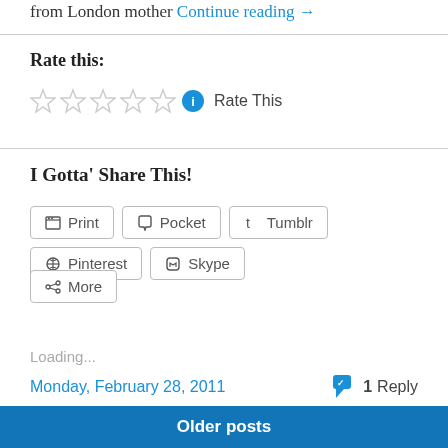from London mother Continue reading →
Rate this:
Rate This
I Gotta' Share This!
Print
Pocket
Tumblr
Pinterest
Skype
More
Loading...
Monday, February 28, 2011
1 Reply
Older posts